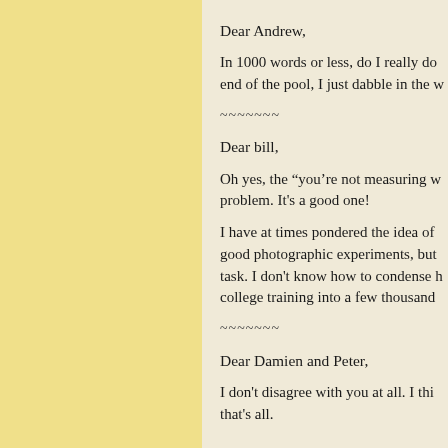Dear Andrew,
In 1000 words or less, do I really do end of the pool, I just dabble in the w
~~~~~~~
Dear bill,
Oh yes, the “you’re not measuring w problem. It’s a good one!
I have at times pondered the idea of good photographic experiments, but task. I don’t know how to condense h college training into a few thousand
~~~~~~~
Dear Damien and Peter,
I don’t disagree with you at all. I thin that’s all.